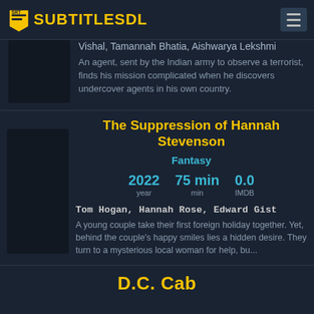SUBTITLESDL
Vishal, Tamannah Bhatia, Aishwarya Lekshmi
An agent, sent by the Indian army to observe a terrorist, finds his mission complicated when he discovers undercover agents in his own country.
The Suppression of Hannah Stevenson
Fantasy
2022 year | 75 min min | 0.0 IMDB
Tom Hogan, Hannah Rose, Edward Gist
A young couple take their first foreign holiday together. Yet, behind the couple's happy smiles lies a hidden desire. They turn to a mysterious local woman for help, bu...
D.C. Cab